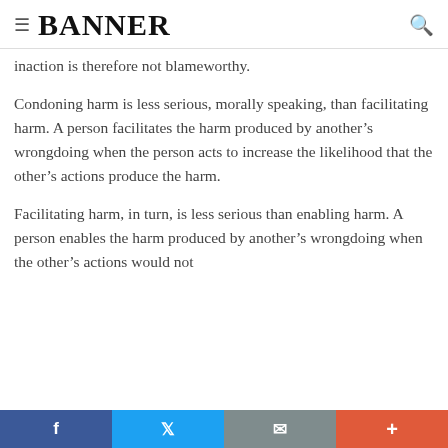≡ BANNER (search icon)
inaction is therefore not blameworthy.
Condoning harm is less serious, morally speaking, than facilitating harm. A person facilitates the harm produced by another's wrongdoing when the person acts to increase the likelihood that the other's actions produce the harm.
Facilitating harm, in turn, is less serious than enabling harm. A person enables the harm produced by another's wrongdoing when the other's actions would not
f  t  mail  +